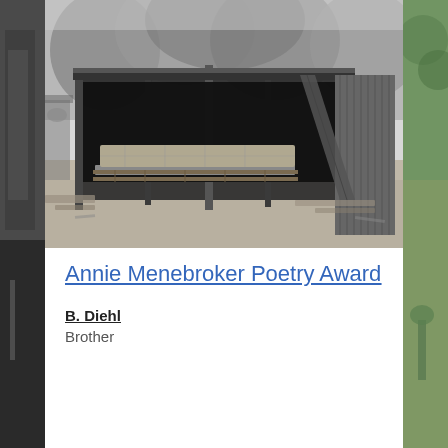[Figure (photo): Black and white photograph of a collapsed or dilapidated shed/structure with a mattress on pallets, metal framing, corrugated metal sheets, surrounded by debris and trees in the background.]
Annie Menebroker Poetry Award
B. Diehl
Brother